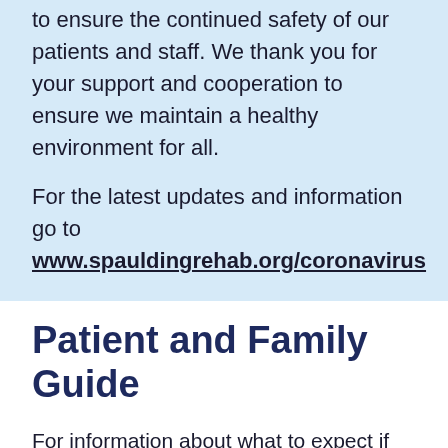to ensure the continued safety of our patients and staff. We thank you for your support and cooperation to ensure we maintain a healthy environment for all.
For the latest updates and information go to www.spauldingrehab.org/coronavirus
Patient and Family Guide
For information about what to expect if you are being admitted to our inpatient rehabilitation program, please review our Patient and Family Guide. Note: Due to COVID-19, policies regarding visitors, cafeteria use, clothing and personal items,